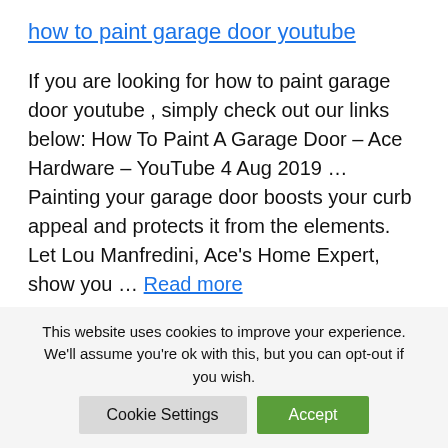how to paint garage door youtube
If you are looking for how to paint garage door youtube , simply check out our links below: How To Paint A Garage Door – Ace Hardware – YouTube 4 Aug 2019 … Painting your garage door boosts your curb appeal and protects it from the elements. Let Lou Manfredini, Ace's Home Expert, show you … Read more
how do you change the battery in a
This website uses cookies to improve your experience. We'll assume you're ok with this, but you can opt-out if you wish. Cookie Settings Accept